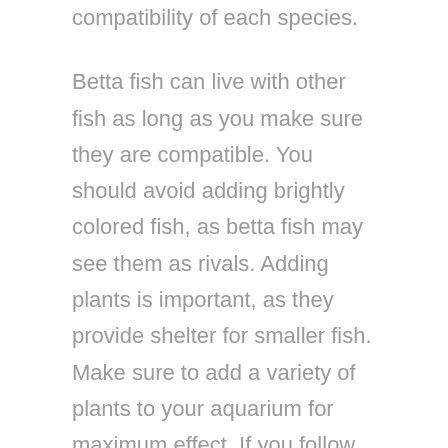compatibility of each species.
Betta fish can live with other fish as long as you make sure they are compatible. You should avoid adding brightly colored fish, as betta fish may see them as rivals. Adding plants is important, as they provide shelter for smaller fish. Make sure to add a variety of plants to your aquarium for maximum effect. If you follow these tips, you'll be able to successfully add other fish to your betta tank without any problems!
When picking new tank mates for your betta fish, you'll want to avoid any fish that are very active. These fish will constantly be swimming around the